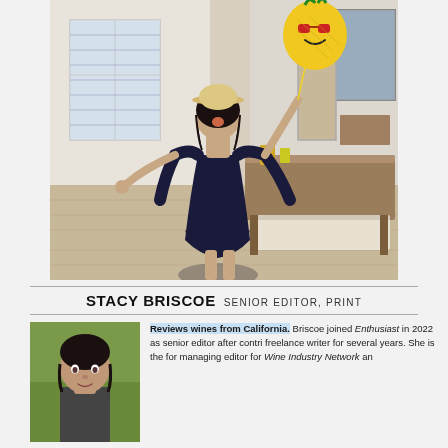[Figure (photo): Woman in black off-shoulder dress and straw hat holding a pineapple balloon, standing in a dining room]
STACY BRISCOE SENIOR EDITOR, PRINT
[Figure (photo): Headshot of a woman with dark hair outdoors with green background]
Reviews wines from California. Briscoe joined Enthusiast in 2022 as senior editor after contributing as a freelance writer for several years. She is the former managing editor for Wine Industry Network an...